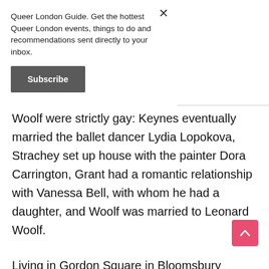Queer London Guide. Get the hottest Queer London events, things to do and recommendations sent directly to your inbox.
Subscribe
Woolf were strictly gay: Keynes eventually married the ballet dancer Lydia Lopokova, Strachey set up house with the painter Dora Carrington, Grant had a romantic relationship with Vanessa Bell, with whom he had a daughter, and Woolf was married to Leonard Woolf.
Living in Gordon Square in Bloomsbury before